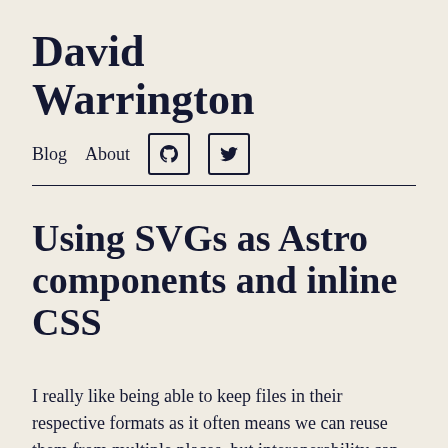David Warrington
Blog  About  [GitHub icon]  [Twitter icon]
Using SVGs as Astro components and inline CSS
I really like being able to keep files in their respective formats as it often means we can reuse them from multiple places, but interoperability can